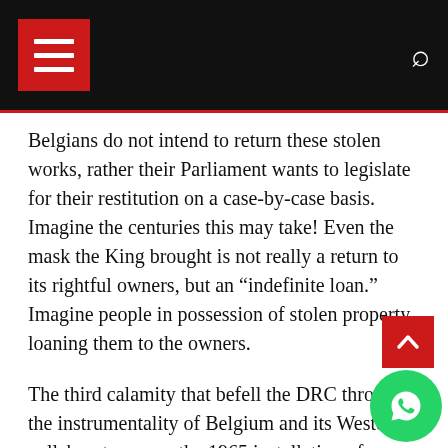Navigation header with hamburger menu and search icon
Belgians do not intend to return these stolen works, rather their Parliament wants to legislate for their restitution on a case-by-case basis. Imagine the centuries this may take! Even the mask the King brought is not really a return to its rightful owners, but an “indefinite loan.” Imagine people in possession of stolen property, loaning them to the owners.
The third calamity that befell the DRC through the instrumentality of Belgium and its Western collaborators, was the 1965 installation of Joseph Mobutu, later named Mobutu Seseseko who in 32 years of Belgium-like bestial rule, ran down the country. The fourth atrocity is the Mobutu era where mainly Belgian and Western cou... continued the looting of DRC’s natural resources...